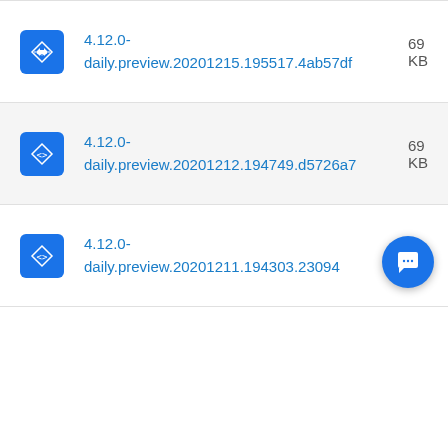4.12.0-daily.preview.20201215.195517.4ab57df  69 KB
4.12.0-daily.preview.20201212.194749.d5726a7  69 KB
4.12.0-daily.preview.20201211.194303.23094...  69 KB